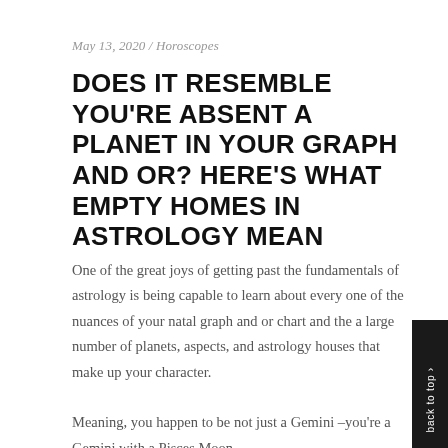May 13, 2020 / Horoscopes
DOES IT RESEMBLE YOU'RE ABSENT A PLANET IN YOUR GRAPH AND OR? HERE'S WHAT EMPTY HOMES IN ASTROLOGY MEAN
One of the great joys of getting past the fundamentals of astrology is being capable to learn about every one of the nuances of your natal graph and or chart and the a large number of planets, aspects, and astrology houses that make up your character.
Meaning, you happen to be not just a Gemini –you're a Gemini with a Pisces Moon